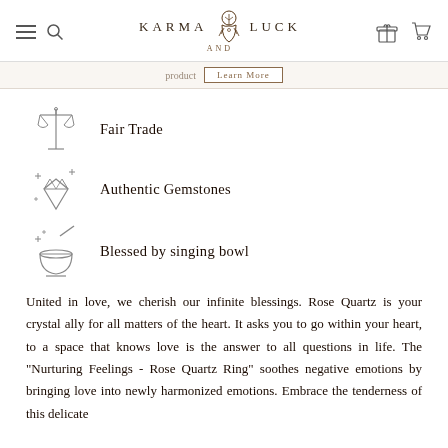[Figure (logo): Karma and Luck logo with hamburger menu, search, gift and cart icons in header]
product   Learn More
Fair Trade
Authentic Gemstones
Blessed by singing bowl
United in love, we cherish our infinite blessings. Rose Quartz is your crystal ally for all matters of the heart. It asks you to go within your heart, to a space that knows love is the answer to all questions in life. The "Nurturing Feelings - Rose Quartz Ring" soothes negative emotions by bringing love into newly harmonized emotions. Embrace the tenderness of this delicate